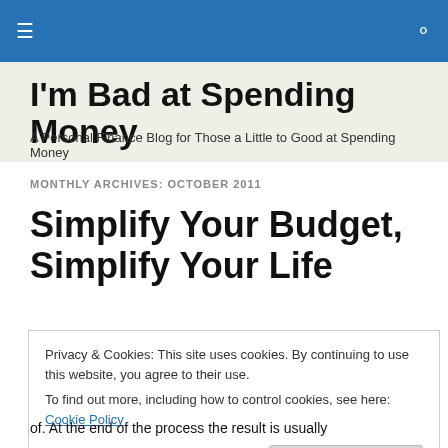I'm Bad at Spending Money
A Personal Finance Blog for Those a Little to Good at Spending Money
MONTHLY ARCHIVES: OCTOBER 2011
Simplify Your Budget, Simplify Your Life
Privacy & Cookies: This site uses cookies. By continuing to use this website, you agree to their use.
To find out more, including how to control cookies, see here: Cookie Policy
of. At the end of the process the result is usually